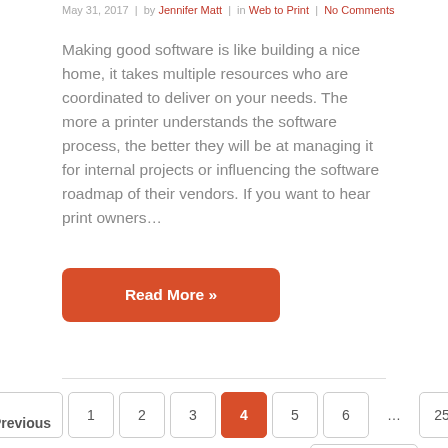May 31, 2017 | by Jennifer Matt | in Web to Print | No Comments
Making good software is like building a nice home, it takes multiple resources who are coordinated to deliver on your needs. The more a printer understands the software process, the better they will be at managing it for internal projects or influencing the software roadmap of their vendors. If you want to hear print owners…
Read More »
« Previous  1  2  3  4  5  6  …  25   Next »